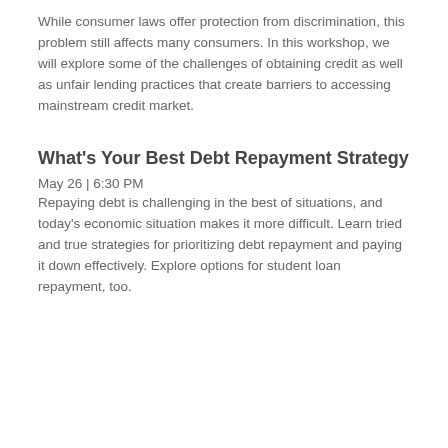While consumer laws offer protection from discrimination, this problem still affects many consumers. In this workshop, we will explore some of the challenges of obtaining credit as well as unfair lending practices that create barriers to accessing mainstream credit market.
What's Your Best Debt Repayment Strategy
May 26 | 6:30 PM
Repaying debt is challenging in the best of situations, and today's economic situation makes it more difficult. Learn tried and true strategies for prioritizing debt repayment and paying it down effectively. Explore options for student loan repayment, too.